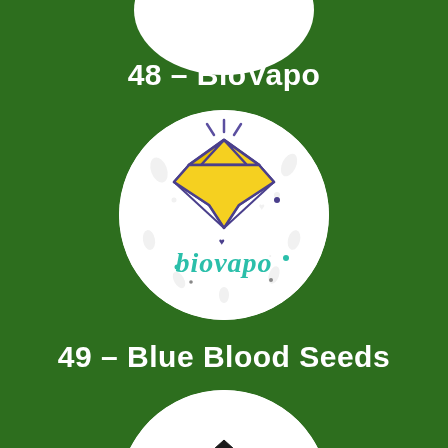48 – BioVapo
[Figure (logo): BioVapo logo: circular white badge with a yellow and purple diamond gem outline illustration and the text 'biovapo' in teal cursive lettering, with small leaf/plant pattern background]
49 – Blue Blood Seeds
[Figure (logo): Blue Blood Seeds logo: circular white badge showing a crown and stylized figure/plant logo mark, partially visible at bottom of page]